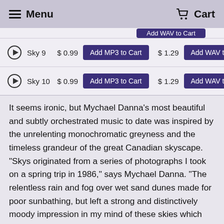Menu  Cart
| Play | Track | MP3 Price | Add MP3 | WAV Price | Add WAV |
| --- | --- | --- | --- | --- | --- |
| ▶ | Sky 9 | $0.99 | Add MP3 to Cart | $1.29 | Add WAV to Cart |
| ▶ | Sky 10 | $0.99 | Add MP3 to Cart | $1.29 | Add WAV to Cart |
It seems ironic, but Mychael Danna's most beautiful and subtly orchestrated music to date was inspired by the unrelenting monochromatic greyness and the timeless grandeur of the great Canadian skyscape. "Skys originated from a series of photographs I took on a spring trip in 1986," says Mychael Danna. "The relentless rain and fog over wet sand dunes made for poor sunbathing, but left a strong and distinctively moody impression in my mind of these skies which dominated the landscape."
"What was so compelling to me was that all the apparent complexity was based on very simple ingredients - air,